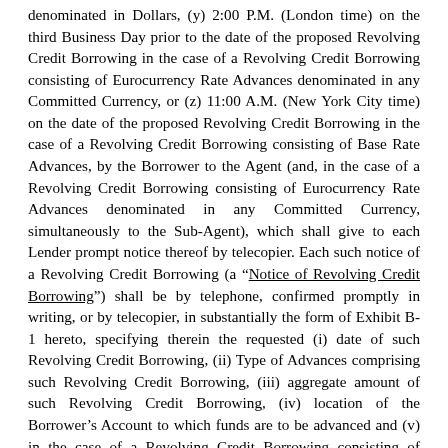denominated in Dollars, (y) 2:00 P.M. (London time) on the third Business Day prior to the date of the proposed Revolving Credit Borrowing in the case of a Revolving Credit Borrowing consisting of Eurocurrency Rate Advances denominated in any Committed Currency, or (z) 11:00 A.M. (New York City time) on the date of the proposed Revolving Credit Borrowing in the case of a Revolving Credit Borrowing consisting of Base Rate Advances, by the Borrower to the Agent (and, in the case of a Revolving Credit Borrowing consisting of Eurocurrency Rate Advances denominated in any Committed Currency, simultaneously to the Sub-Agent), which shall give to each Lender prompt notice thereof by telecopier. Each such notice of a Revolving Credit Borrowing (a “Notice of Revolving Credit Borrowing”) shall be by telephone, confirmed promptly in writing, or by telecopier, in substantially the form of Exhibit B-1 hereto, specifying therein the requested (i) date of such Revolving Credit Borrowing, (ii) Type of Advances comprising such Revolving Credit Borrowing, (iii) aggregate amount of such Revolving Credit Borrowing, (iv) location of the Borrower’s Account to which funds are to be advanced and (v) in the case of a Revolving Credit Borrowing consisting of Eurocurrency Rate Advances, initial Interest Period and currency for each such Revolving Credit Advance. Each Lender shall, before 1:00 P.M. (New York City time) on the date of such Revolving Credit Borrowing, in the case of a Revolving Credit